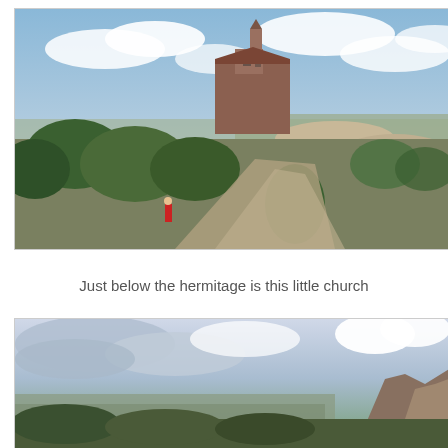[Figure (photo): A small historic church or chapel perched on a rocky hilltop at Montserrat, surrounded by green trees. A path leads up to the building. A person in red is visible on the path. The sky is partly cloudy and the landscape extends far into the distance.]
Just below the hermitage is this little church
[Figure (photo): A panoramic view from high up at Montserrat showing a vast landscape below under a dramatic cloudy sky, with rocky mountain formations visible on the right side.]